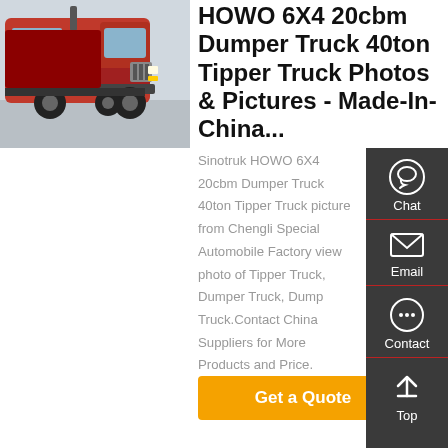[Figure (photo): Red Sinotruk HOWO 6X4 tipper/dumper truck, front-right angle view, parked in a yard]
HOWO 6X4 20cbm Dumper Truck 40ton Tipper Truck Photos & Pictures - Made-In-China...
Sinotruk HOWO 6X4 20cbm Dumper Truck 40ton Tipper Truck picture from Chengli Special Automobile Factory view photo of Tipper Truck, Dumper Truck, Dump Truck.Contact China Suppliers for More Products and Price.
Get a Quote